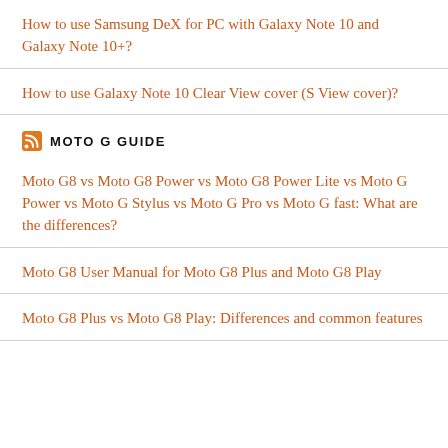How to use Samsung DeX for PC with Galaxy Note 10 and Galaxy Note 10+?
How to use Galaxy Note 10 Clear View cover (S View cover)?
MOTO G GUIDE
Moto G8 vs Moto G8 Power vs Moto G8 Power Lite vs Moto G Power vs Moto G Stylus vs Moto G Pro vs Moto G fast: What are the differences?
Moto G8 User Manual for Moto G8 Plus and Moto G8 Play
Moto G8 Plus vs Moto G8 Play: Differences and common features